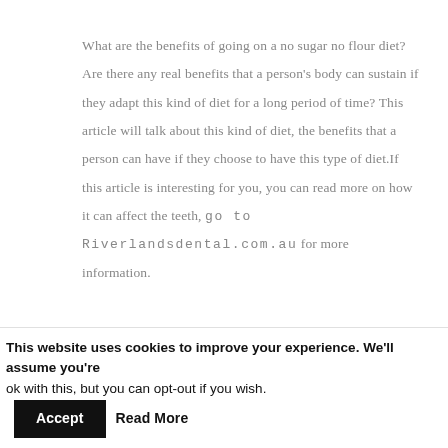What are the benefits of going on a no sugar no flour diet? Are there any real benefits that a person's body can sustain if they adapt this kind of diet for a long period of time? This article will talk about this kind of diet, the benefits that a person can have if they choose to have this type of diet.If this article is interesting for you, you can read more on how it can affect the teeth, go to Riverlandsdental.com.au for more information.
[Figure (photo): Photo of a person in blue medical/dental attire holding equipment, likely a dental device or mouthguard-related equipment]
What Are The Alternatives To Mouthguard For Sleep Apnea?
This website uses cookies to improve your experience. We'll assume you're ok with this, but you can opt-out if you wish.